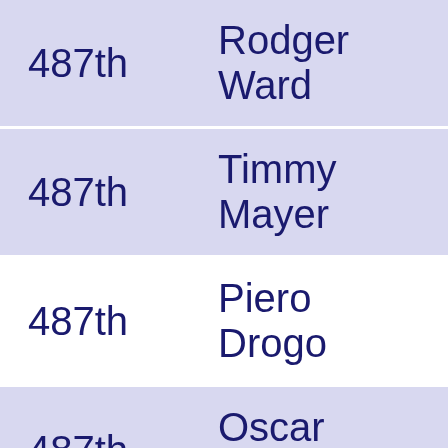| Rank | Name |
| --- | --- |
| 487th | Rodger Ward |
| 487th | Timmy Mayer |
| 487th | Piero Drogo |
| 487th | Oscar Gálvez |
| 487th | Eric Thompson |
| 495th | Mike Thackwell |
| 495th | ... |